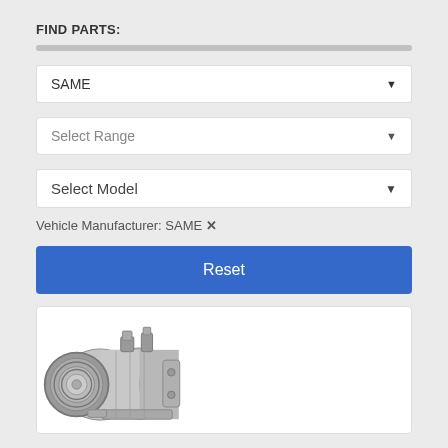FIND PARTS:
[Figure (screenshot): Dropdown selector showing 'SAME' as selected manufacturer]
[Figure (screenshot): Dropdown selector showing 'Select Range' placeholder]
[Figure (screenshot): Dropdown selector showing 'Select Model' placeholder]
Vehicle Manufacturer: SAME ✕
[Figure (screenshot): Blue Reset button]
[Figure (photo): Photo of an automotive/agricultural AC compressor, metallic silver finish with pulley wheel on the left side]